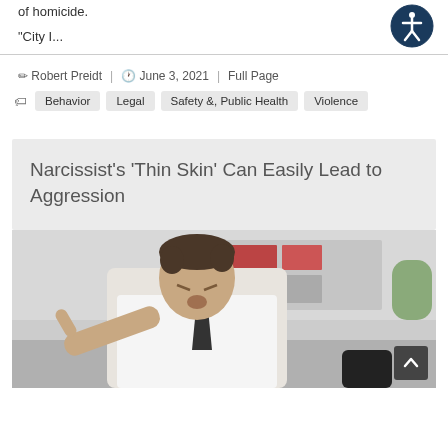of homicide.
"City I...
Robert Preidt  |  June 3, 2021  |  Full Page
Behavior
Legal
Safety &, Public Health
Violence
Narcissist's 'Thin Skin' Can Easily Lead to Aggression
[Figure (photo): Man in white shirt and dark tie, leaning forward aggressively, pointing with one finger and shouting, with an office background of shelves and binders]